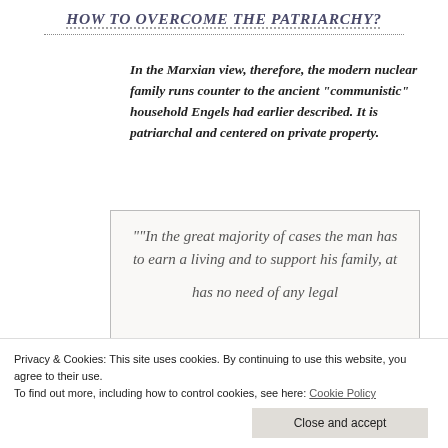How to Overcome the Patriarchy?
In the Marxian view, therefore, the modern nuclear family runs counter to the ancient "communistic" household Engels had earlier described. It is patriarchal and centered on private property.
""In the great majority of cases the man has to earn a living and to support his family, at
has no need of any legal
Privacy & Cookies: This site uses cookies. By continuing to use this website, you agree to their use.
To find out more, including how to control cookies, see here: Cookie Policy